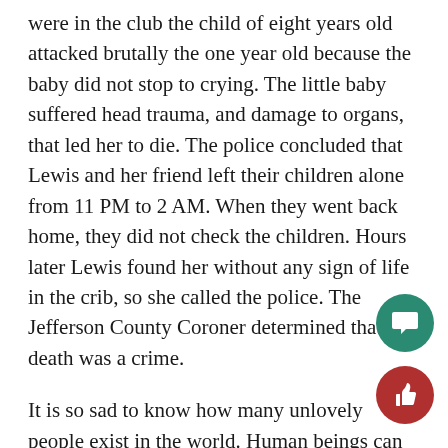were in the club the child of eight years old attacked brutally the one year old because the baby did not stop to crying. The little baby suffered head trauma, and damage to organs, that led her to die. The police concluded that Lewis and her friend left their children alone from 11 PM to 2 AM. When they went back home, they did not check the children. Hours later Lewis found her without any sign of life in the crib, so she called the police. The Jefferson County Coroner determined that the death was a crime.
It is so sad to know how many unlovely people exist in the world. Human beings can make big mistakes and when it cost the life of a child it is so tragic. Children need to feel love from their parents, and parents have to make sure how important they are for them. When parents have children they have to take and  pay attention to them because they could get upset. I have met many children in this world who are depressed because their parents beat them and did not take them. They feel useless and without importance. This causes